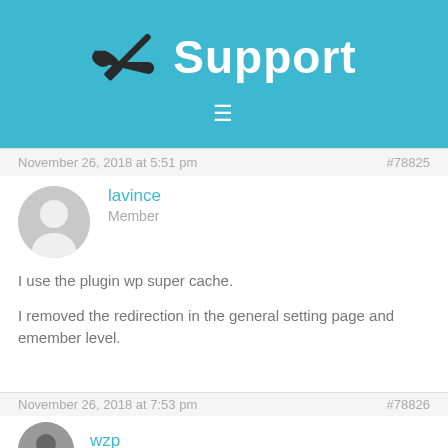Support
November 26, 2018 at 5:51 pm   #78825
lavince
Member
I use the plugin wp super cache.

I removed the redirection in the general setting page and emember level.
November 26, 2018 at 7:53 pm   #78826
wzp
Moderator